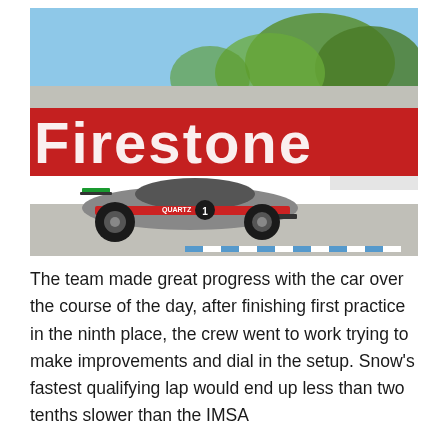[Figure (photo): A motorsport racing car (with QUARTZ livery, number 1, silver and red) speeding past a large red Firestone advertising banner on a race track. Trees and blue sky visible in background. Motion blur effect on background.]
The team made great progress with the car over the course of the day, after finishing first practice in the ninth place, the crew went to work trying to make improvements and dial in the setup. Snow's fastest qualifying lap would end up less than two tenths slower than the IMSA Weather Tech Series Car Championship GTD class leader.